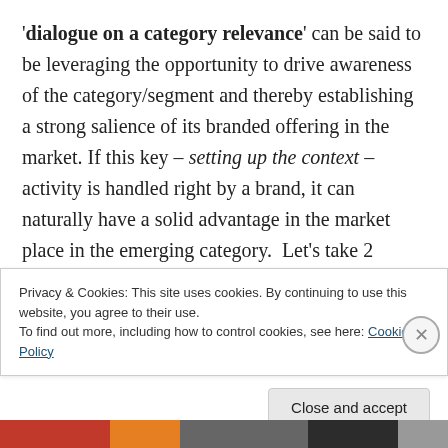'dialogue on a category relevance' can be said to be leveraging the opportunity to drive awareness of the category/segment and thereby establishing a strong salience of its branded offering in the market. If this key – setting up the context – activity is handled right by a brand, it can naturally have a solid advantage in the market place in the emerging category.  Let's take 2 examples, one from a marketing strategy stand point and the other from a creative execution stand point.
Privacy & Cookies: This site uses cookies. By continuing to use this website, you agree to their use.
To find out more, including how to control cookies, see here: Cookie Policy
Close and accept